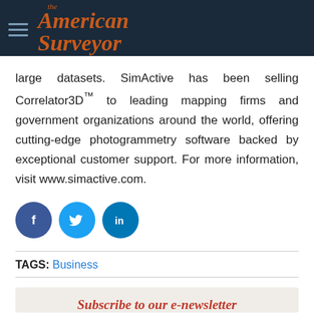The American Surveyor
large datasets. SimActive has been selling Correlator3D™ to leading mapping firms and government organizations around the world, offering cutting-edge photogrammetry software backed by exceptional customer support. For more information, visit www.simactive.com.
[Figure (infographic): Social media share buttons: Facebook (dark blue circle with 'f'), Twitter (light blue circle with bird icon), LinkedIn (blue circle with 'in')]
TAGS: Business
Subscribe to our e-newsletter